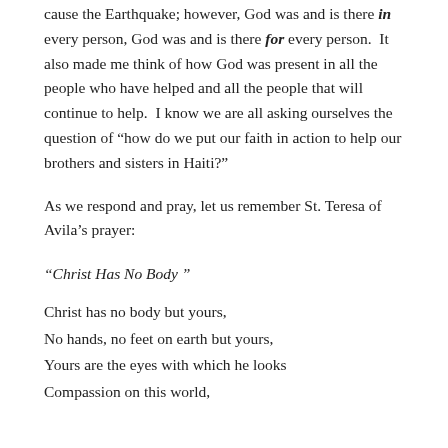cause the Earthquake; however, God was and is there in every person, God was and is there for every person.  It also made me think of how God was present in all the people who have helped and all the people that will continue to help.  I know we are all asking ourselves the question of “how do we put our faith in action to help our brothers and sisters in Haiti?”
As we respond and pray, let us remember St. Teresa of Avila’s prayer:
“Christ Has No Body”
Christ has no body but yours,
No hands, no feet on earth but yours,
Yours are the eyes with which he looks
Compassion on this world,